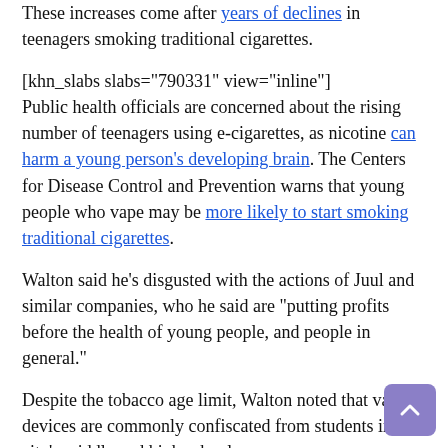These increases come after years of declines in teenagers smoking traditional cigarettes.
[khn_slabs slabs="790331" view="inline"] Public health officials are concerned about the rising number of teenagers using e-cigarettes, as nicotine can harm a young person's developing brain. The Centers for Disease Control and Prevention warns that young people who vape may be more likely to start smoking traditional cigarettes.
Walton said he's disgusted with the actions of Juul and similar companies, who he said are "putting profits before the health of young people, and people in general."
Despite the tobacco age limit, Walton noted that vaping devices are commonly confiscated from students in the city's middle and high schools.
The ordinance is accompanied by another that prevents the manufacture, distribution and sale of e-cigarettes on San Francisco property. The ordinance takes direct aim at Juul labs, which has a presence from the city as San Francisco is...